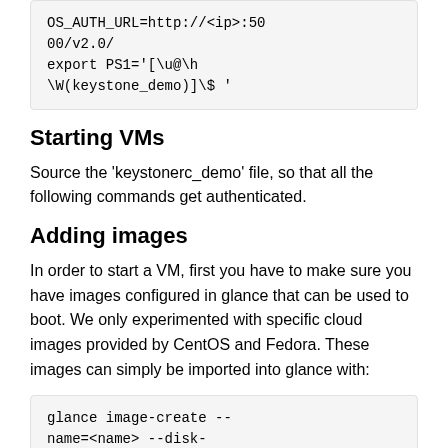[Figure (screenshot): Code block showing: OS_AUTH_URL=http://<ip>:5000/v2.0/
export PS1='[\u@\h \W(keystone_demo)]\$ ']
Starting VMs
Source the 'keystonerc_demo' file, so that all the following commands get authenticated.
Adding images
In order to start a VM, first you have to make sure you have images configured in glance that can be used to boot. We only experimented with specific cloud images provided by CentOS and Fedora. These images can simply be imported into glance with:
[Figure (screenshot): Code block showing: glance image-create --name=<name> --disk-format=raw --container-format=bare --location <image url>]